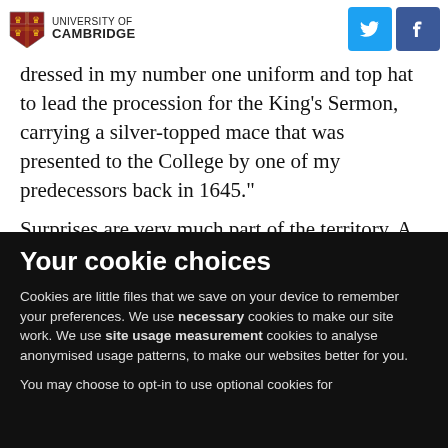University of Cambridge
for the job,' he says. 'But I was dressed in my number one uniform and top hat to lead the procession for the King's Sermon, carrying a silver-topped mace that was presented to the College by one of my predecessors back in 1645."
Surprises are very much part of the territory. A
Your cookie choices
Cookies are little files that we save on your device to remember your preferences. We use necessary cookies to make our site work. We use site usage measurement cookies to analyse anonymised usage patterns, to make our websites better for you.
You may choose to opt-in to use optional cookies for